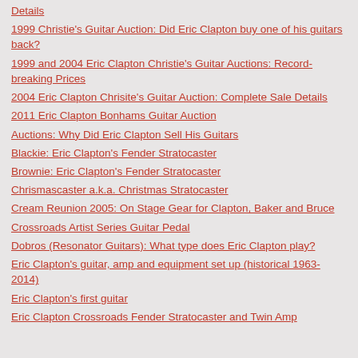Details
1999 Christie's Guitar Auction: Did Eric Clapton buy one of his guitars back?
1999 and 2004 Eric Clapton Christie's Guitar Auctions: Record-breaking Prices
2004 Eric Clapton Chrisite's Guitar Auction: Complete Sale Details
2011 Eric Clapton Bonhams Guitar Auction
Auctions: Why Did Eric Clapton Sell His Guitars
Blackie: Eric Clapton's Fender Stratocaster
Brownie: Eric Clapton's Fender Stratocaster
Chrismascaster a.k.a. Christmas Stratocaster
Cream Reunion 2005: On Stage Gear for Clapton, Baker and Bruce
Crossroads Artist Series Guitar Pedal
Dobros (Resonator Guitars): What type does Eric Clapton play?
Eric Clapton's guitar, amp and equipment set up (historical 1963-2014)
Eric Clapton's first guitar
Eric Clapton Crossroads Fender Stratocaster and Twin Amp